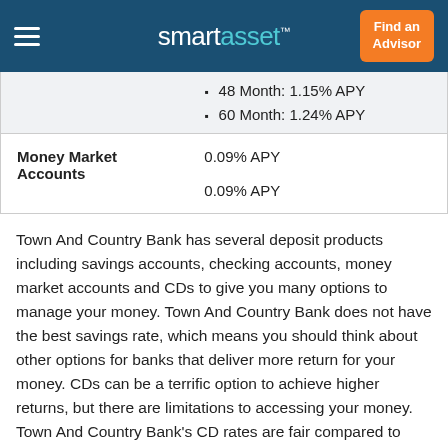smartasset™
|  | 48 Month: 1.15% APY
60 Month: 1.24% APY |
| Money Market Accounts | 0.09% APY

0.09% APY |
Town And Country Bank has several deposit products including savings accounts, checking accounts, money market accounts and CDs to give you many options to manage your money. Town And Country Bank does not have the best savings rate, which means you should think about other options for banks that deliver more return for your money. CDs can be a terrific option to achieve higher returns, but there are limitations to accessing your money. Town And Country Bank's CD rates are fair compared to other U.S. banks.